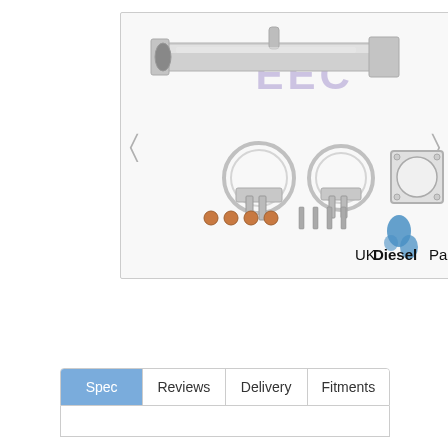[Figure (photo): Product photo of an exhaust pipe/downpipe with fitting kit including clamps, bolts, copper nuts and a gasket. EEC watermark overlay. UK Diesel Parts logo in bottom right corner.]
CONTACT US
Spec | Reviews | Delivery | Fitments